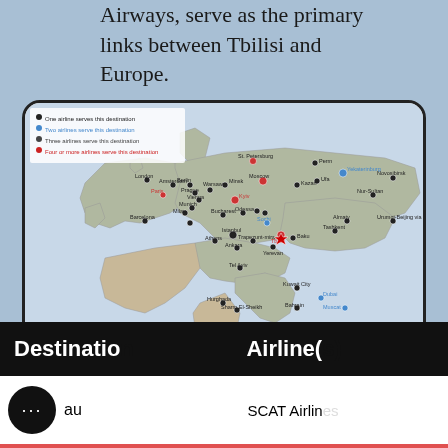Airways, serve as the primary links between Tbilisi and Europe.
[Figure (map): Route map showing airline destinations served from Tbilisi, with dots indicating number of airlines serving each destination. Legend shows: one airline (black), two airlines (blue), three airlines (dark), four or more airlines (red). Destinations span Europe, Middle East, Central Asia, and Russia.]
As of July 4, 2019
| Destination | Airline(s) |
| --- | --- |
| au | SCAT Airlines |